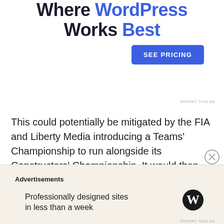[Figure (other): Ad banner top: text reading 'Where WordPress Works Best' with 'WordPress' in blue and a blue 'SEE PRICING' button]
REPORT THIS AD
This could potentially be mitigated by the FIA and Liberty Media introducing a Teams' Championship to run alongside its Constructors' Championship. It would then likely be a case of adjusting the terms of the Concorde Agreement so that teams receive income from their position in the Teams' Championship while, assuming they have built their own car and are therefore eligible for the
[Figure (other): Bottom advertisement banner with 'Advertisements' label, text 'Professionally designed sites in less than a week' and WordPress logo]
REPORT THIS AD